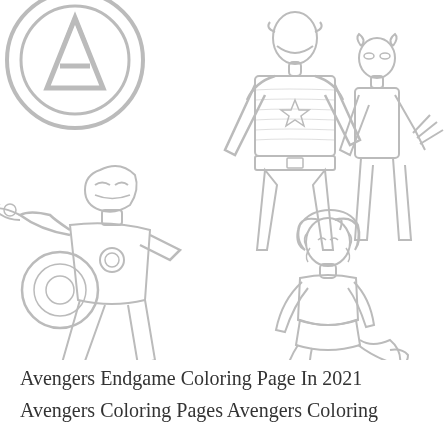[Figure (illustration): Avengers coloring page line art showing the Avengers logo (large A in circle) at top left, Captain America standing tall in center-back, Wolverine behind to the right with claws extended, Iron Man flying/lunging in lower-left, and a female character (Black Widow or similar) crouching at lower-right. All characters are rendered in black outline style suitable for coloring.]
Avengers Endgame Coloring Page In 2021 Avengers Coloring Pages Avengers Coloring